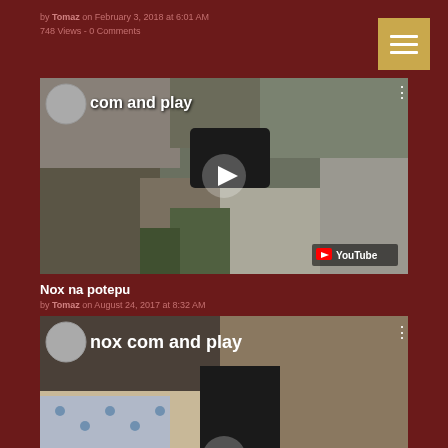by Tomaz on February 3, 2018 at 6:01 AM
748 Views - 0 Comments
[Figure (screenshot): YouTube video thumbnail showing a black cat in a garden with text 'com and play', YouTube logo visible, play button in center]
Nox na potepu
by Tomaz on August 24, 2017 at 8:32 AM
1096 Views - 0 Comments
[Figure (screenshot): YouTube video thumbnail showing a cat indoors with text 'nox com and play', play button partially visible at bottom]